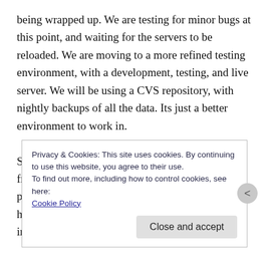being wrapped up. We are testing for minor bugs at this point, and waiting for the servers to be reloaded. We are moving to a more refined testing environment, with a development, testing, and live server. We will be using a CVS repository, with nightly backups of all the data. Its just a better environment to work in.

Since I am so dead tired of the commute to and from Clayton State, I have began looking at the possibility of purchasing a house in the area. We have already seen several houses we are interested in:
Privacy & Cookies: This site uses cookies. By continuing to use this website, you agree to their use.
To find out more, including how to control cookies, see here:
Cookie Policy
Close and accept